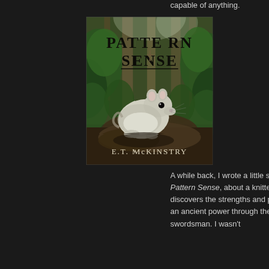capable of anything.
[Figure (illustration): Book cover of 'Pattern Sense' by E.T. McKinstry showing a small mouse or flying squirrel animal against a forest background with green foliage and trees. The title 'Pattern Sense' is displayed in large decorative serif text at the top, and the author name 'E.T. McKinstry' appears at the bottom.]
A while back, I wrote a little story called Pattern Sense, about a knitter who discovers the strengths and pitfalls of an ancient power through the love of a swordsman. I wasn't